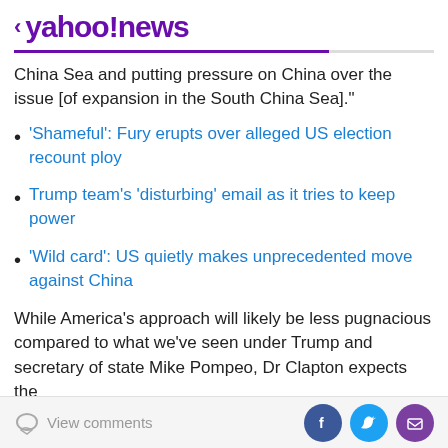< yahoo!news
China Sea and putting pressure on China over the issue [of expansion in the South China Sea]."
'Shameful': Fury erupts over alleged US election recount ploy
Trump team's 'disturbing' email as it tries to keep power
'Wild card': US quietly makes unprecedented move against China
While America's approach will likely be less pugnacious compared to what we've seen under Trump and secretary of state Mike Pompeo, Dr Clapton expects the
View comments